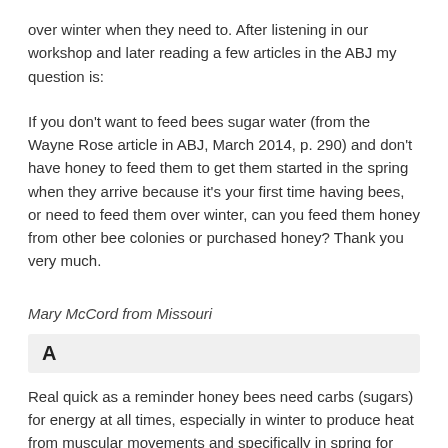over winter when they need to. After listening in our workshop and later reading a few articles in the ABJ my question is:
If you don't want to feed bees sugar water (from the Wayne Rose article in ABJ, March 2014, p. 290) and don't have honey to feed them to get them started in the spring when they arrive because it's your first time having bees, or need to feed them over winter, can you feed them honey from other bee colonies or purchased honey? Thank you very much.
Mary McCord from Missouri
A
Real quick as a reminder honey bees need carbs (sugars) for energy at all times, especially in winter to produce heat from muscular movements and specifically in spring for food energy to feed and raise brood (baby bees) and stimulate wax glands to build new comb. Honey is the perfect carb, but honey coming